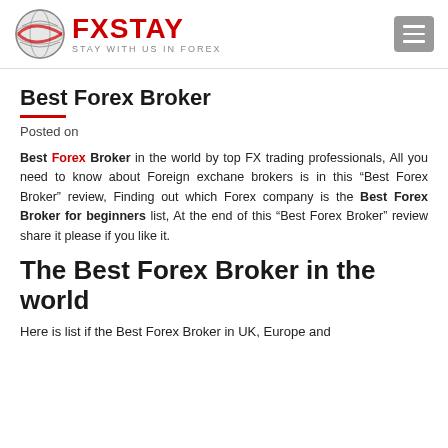FXSTAY STAY WITH US IN FOREX
Best Forex Broker
Posted on
Best Forex Broker in the world by top FX trading professionals, All you need to know about Foreign exchane brokers is in this “Best Forex Broker” review, Finding out which Forex company is the Best Forex Broker for beginners list, At the end of this “Best Forex Broker” review share it please if you like it.
The Best Forex Broker in the world
Here is list if the Best Forex Broker in UK, Europe and